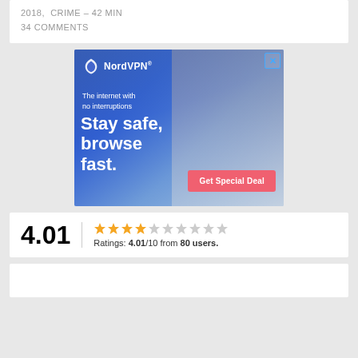2018,  CRIME – 42 MIN
34 COMMENTS
[Figure (photo): NordVPN advertisement banner showing a woman on her phone with text 'The internet with no interruptions – Stay safe, browse fast.' and a 'Get Special Deal' button]
4.01
Ratings: 4.01/10 from 80 users.